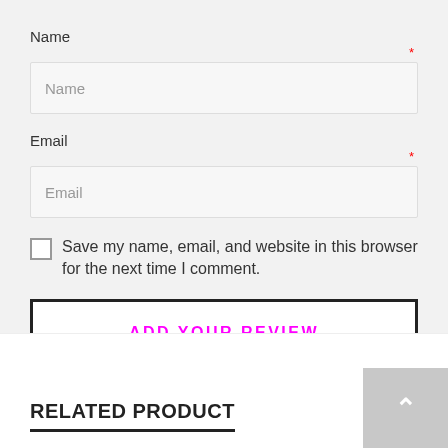Name
Name (input field)
Email
Email (input field)
Save my name, email, and website in this browser for the next time I comment.
ADD YOUR REVIEW
RELATED PRODUCT